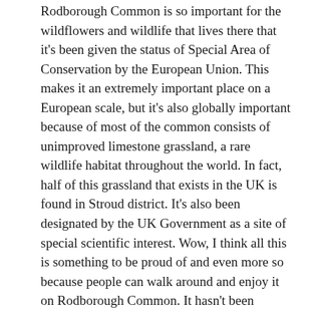Rodborough Common is so important for the wildflowers and wildlife that lives there that it's been given the status of Special Area of Conservation by the European Union. This makes it an extremely important place on a European scale, but it's also globally important because of most of the common consists of unimproved limestone grassland, a rare wildlife habitat throughout the world. In fact, half of this grassland that exists in the UK is found in Stroud district. It's also been designated by the UK Government as a site of special scientific interest. Wow, I think all this is something to be proud of and even more so because people can walk around and enjoy it on Rodborough Common. It hasn't been hidden away behind fences with large 'Keep Out' signs.
During the first two or three weeks of May, the special wildlife interest focuses on the early purple